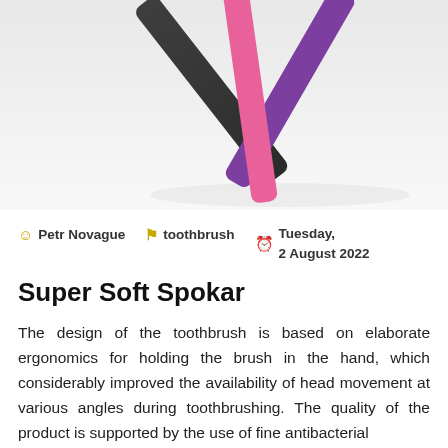[Figure (photo): Three toothbrush handles crossed in an X shape — black, pink, and purple — arranged diagonally against a white/grey reflective surface background.]
Petr Novague   toothbrush   Tuesday, 2 August 2022
Super Soft Spokar
The design of the toothbrush is based on elaborate ergonomics for holding the brush in the hand, which considerably improved the availability of head movement at various angles during toothbrushing. The quality of the product is supported by the use of fine antibacterial